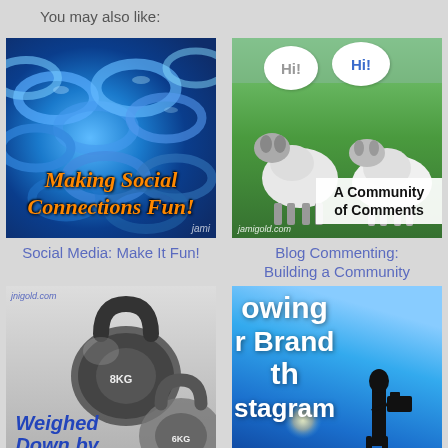You may also like:
[Figure (illustration): Blue glass art background with orange italic text reading 'Making Social Connections Fun!' and a partial 'jami' watermark]
Social Media: Make It Fun!
[Figure (photo): Two sheep on green grass with speech bubbles saying 'Hi!' and a white box overlay reading 'A Community of Comments', jamigold.com watermark]
Blog Commenting: Building a Community
[Figure (photo): Black and white kettlebells (8KG and 6KG) with blue bold text 'Weighed Down by Too Many' and jnigold.com watermark]
[Figure (illustration): Blue sky background with white bold text reading 'owing r Brand th stagram' (partially visible), silhouette of person with camera]